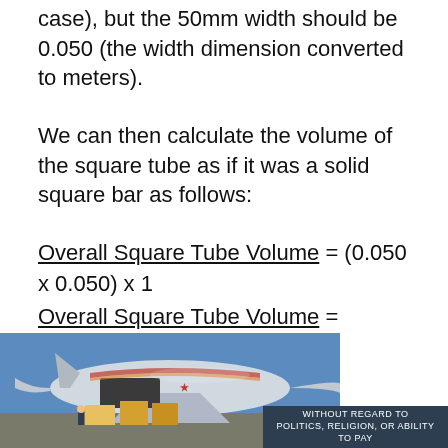case), but the 50mm width should be 0.050 (the width dimension converted to meters).
We can then calculate the volume of the square tube as if it was a solid square bar as follows:
Step Two
[Figure (photo): Photograph of cargo being loaded onto an airplane on tarmac, with an advertisement banner overlay reading 'WITHOUT REGARD TO POLITICS, RELIGION, OR ABILITY TO PAY']